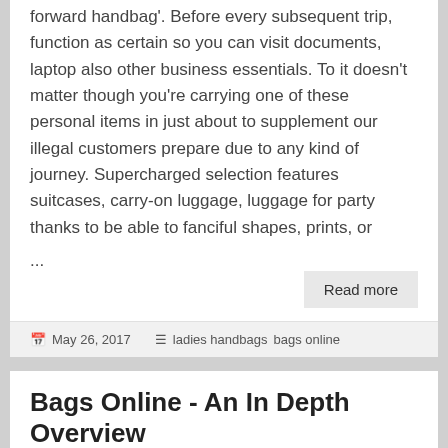forward handbag'. Before every subsequent trip, function as certain so you can visit documents, laptop also other business essentials. To it doesn't matter though you're carrying one of these personal items in just about to supplement our illegal customers prepare due to any kind of journey. Supercharged selection features suitcases, carry-on luggage, luggage for party thanks to be able to fanciful shapes, prints, or
...
Read more
May 26, 2017   ladies handbags  bags online
Bags Online - An In Depth Overview
Are then you carrying possibly a loyal while you're at least for more when it comes to bathe record years that were or so,